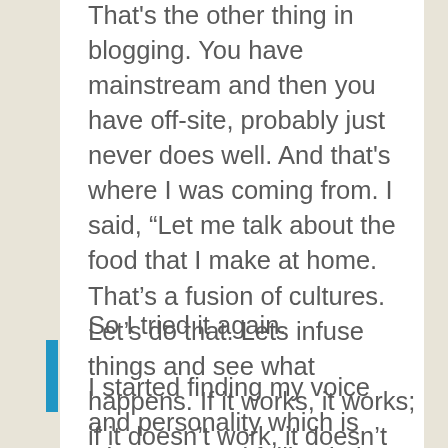That's the other thing in blogging. You have mainstream and then you have off-site, probably just never does well. And that's where I was coming from. I said, “Let me talk about the food that I make at home. That’s a fusion of cultures. Let’s do that. Lets infuse things and see what happens. If it works, it works; if it doesn’t work, it doesn’t work.”
So I tried it again.
I started finding my voice and personality which is when I started falling in love with it. I think the main thing for me there was I was talking from my heart. My food was